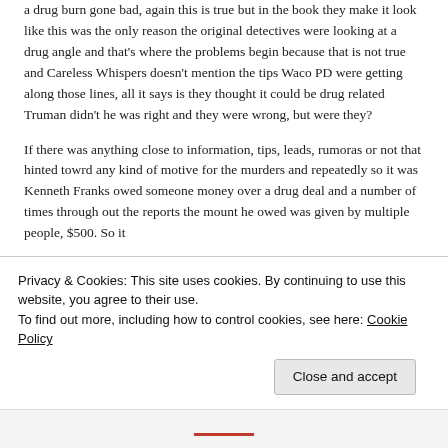a drug burn gone bad, again this is true but in the book they make it look like this was the only reason the original detectives were looking at a drug angle and that's where the problems begin because that is not true and Careless Whispers doesn't mention the tips Waco PD were getting along those lines, all it says is they thought it could be drug related Truman didn't he was right and they were wrong, but were they?
If there was anything close to information, tips, leads, rumoras or not that hinted towrd any kind of motive for the murders and repeatedly so it was Kenneth Franks owed someone money over a drug deal and a number of times through out the reports the mount he owed was given by multiple people, $500. So it
Privacy & Cookies: This site uses cookies. By continuing to use this website, you agree to their use.
To find out more, including how to control cookies, see here: Cookie Policy
Close and accept